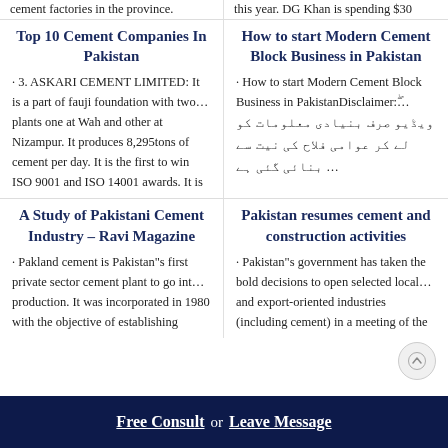cement factories in the province.
this year. DG Khan is spending $30
Top 10 Cement Companies In Pakistan
· 3. ASKARI CEMENT LIMITED: It is a part of fauji foundation with two… plants one at Wah and other at Nizampur. It produces 8,295tons of cement per day. It is the first to win ISO 9001 and ISO 14001 awards. It is
How to start Modern Cement Block Business in Pakistan
· How to start Modern Cement Block Business in PakistanDisclaimer:۔… ویڈیو صرف بنیادی معلومات کو لے کر عوامی فلاح کی نیت سے بنائی گئی ہے ...
A Study of Pakistani Cement Industry – Ravi Magazine
· Pakland cement is Pakistan"s first private sector cement plant to go int… production. It was incorporated in 1980 with the objective of establishing
Pakistan resumes cement and construction activities
· Pakistan"s government has taken the bold decisions to open selected local… and export-oriented industries (including cement) in a meeting of the
Free Consult  or  Leave Message